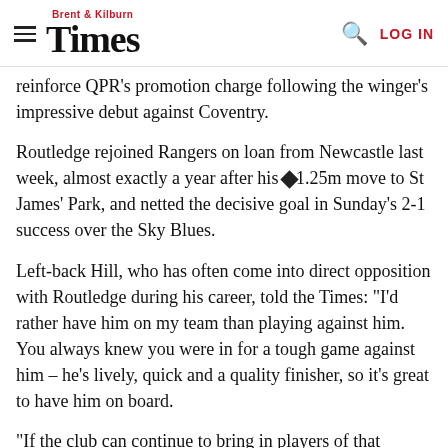Brent & Kilburn Times | LOG IN
reinforce QPR's promotion charge following the winger's impressive debut against Coventry.
Routledge rejoined Rangers on loan from Newcastle last week, almost exactly a year after his ◆1.25m move to St James' Park, and netted the decisive goal in Sunday's 2-1 success over the Sky Blues.
Left-back Hill, who has often come into direct opposition with Routledge during his career, told the Times: "I'd rather have him on my team than playing against him. You always knew you were in for a tough game against him – he's lively, quick and a quality finisher, so it's great to have him on board.
"If the club can continue to bring in players of that calibre, that's got to be good. Promotion's what we're